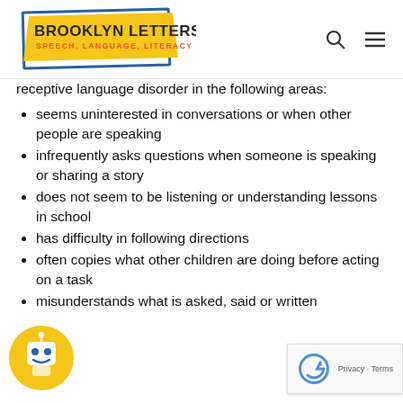Brooklyn Letters — Speech, Language, Literacy
receptive language disorder in the following areas:
seems uninterested in conversations or when other people are speaking
infrequently asks questions when someone is speaking or sharing a story
does not seem to be listening or understanding lessons in school
has difficulty in following directions
often copies what other children are doing before acting on a task
misunderstands what is asked, said or written